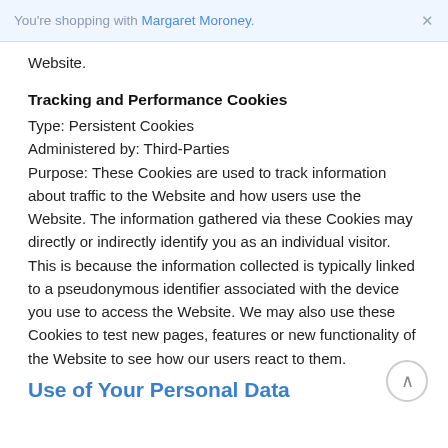You're shopping with Margaret Moroney. ×
Website.
Tracking and Performance Cookies
Type: Persistent Cookies
Administered by: Third-Parties
Purpose: These Cookies are used to track information about traffic to the Website and how users use the Website. The information gathered via these Cookies may directly or indirectly identify you as an individual visitor. This is because the information collected is typically linked to a pseudonymous identifier associated with the device you use to access the Website. We may also use these Cookies to test new pages, features or new functionality of the Website to see how our users react to them.
Use of Your Personal Data